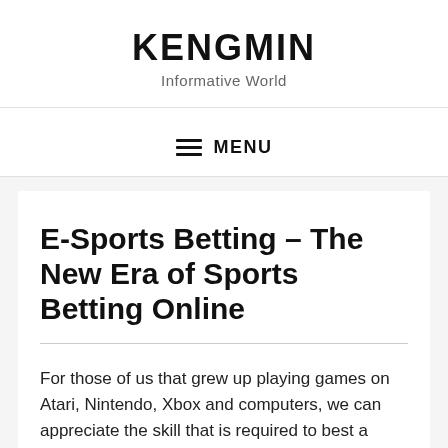KENGMIN
Informative World
MENU
E-Sports Betting – The New Era of Sports Betting Online
For those of us that grew up playing games on Atari, Nintendo, Xbox and computers, we can appreciate the skill that is required to best a game